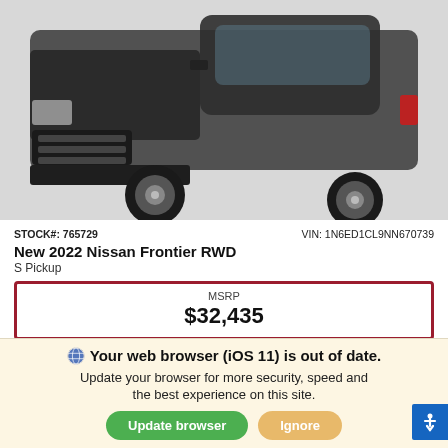[Figure (photo): Front view of a dark-colored 2022 Nissan Frontier pickup truck on white background]
STOCK#: 765729    VIN: 1N6ED1CL9NN670739
New 2022 Nissan Frontier RWD
S Pickup
MSRP
$32,435
*First Name    *Last Name
*Email
Your web browser (iOS 11) is out of date.
Update your browser for more security, speed and the best experience on this site.
Update browser    Ignore